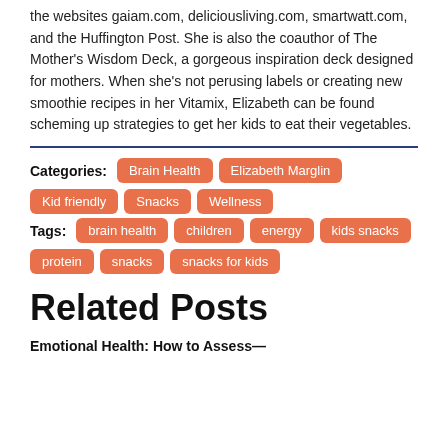the websites gaiam.com, deliciousliving.com, smartwatt.com, and the Huffington Post. She is also the coauthor of The Mother's Wisdom Deck, a gorgeous inspiration deck designed for mothers. When she's not perusing labels or creating new smoothie recipes in her Vitamix, Elizabeth can be found scheming up strategies to get her kids to eat their vegetables.
Categories: Brain Health, Elizabeth Marglin, Kid friendly, Snacks, Wellness
Tags: brain health, children, energy, kids snacks, protein, snacks, snacks for kids
Related Posts
Emotional Health: How to Assess—